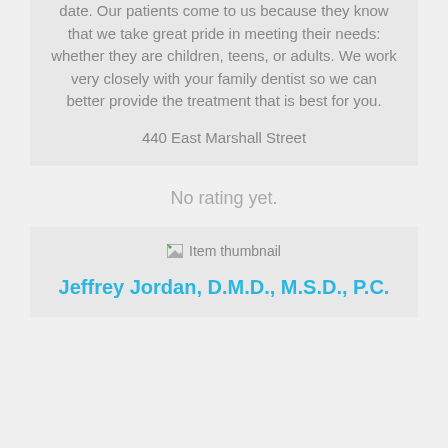date. Our patients come to us because they know that we take great pride in meeting their needs: whether they are children, teens, or adults. We work very closely with your family dentist so we can better provide the treatment that is best for you.
440 East Marshall Street
No rating yet.
[Figure (other): Broken image placeholder labeled 'Item thumbnail']
Jeffrey Jordan, D.M.D., M.S.D., P.C.